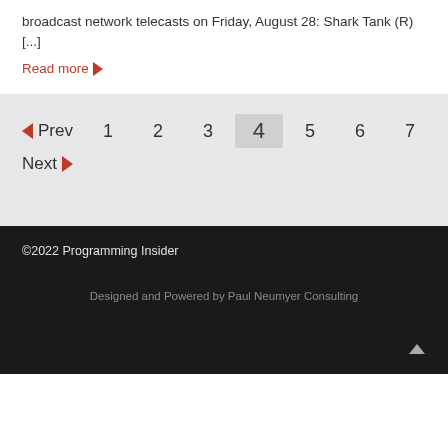broadcast network telecasts on Friday, August 28: Shark Tank (R) [...]
Read more
Prev 1 2 3 4 5 6 7 Next
©2022 Programming Insider
Designed and Powered by Paul Neumyer Consulting